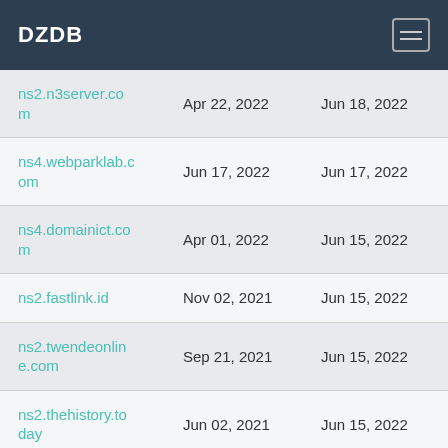DZDB
| Name | First Seen | Last Seen |
| --- | --- | --- |
| ns2.n3server.com | Apr 22, 2022 | Jun 18, 2022 |
| ns4.webparklab.com | Jun 17, 2022 | Jun 17, 2022 |
| ns4.domainict.com | Apr 01, 2022 | Jun 15, 2022 |
| ns2.fastlink.id | Nov 02, 2021 | Jun 15, 2022 |
| ns2.twendeonline.com | Sep 21, 2021 | Jun 15, 2022 |
| ns2.thehistory.today | Jun 02, 2021 | Jun 15, 2022 |